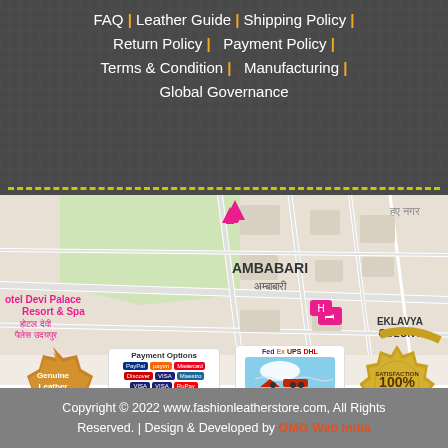FAQ | Leather Guide | Shipping Policy | Return Policy | Payment Policy | Terms & Condition | Manufacturing | Global Governance
[Figure (map): Google Maps view showing Ambabari area with hotel markers for Devi Palace Resort & Spa and Eklavya Colony]
[Figure (infographic): Four trust badges: Genuine Leather 100%, Payment Options (PayPal, Visa, Mastercard etc.), FedEx/UPS/DHL shipping logos with plane and truck, 100% Satisfaction Guarantee seal]
Copyright © 2022 www.fashionleatherstore.com, All Rights Reserved. | Design & Developed by OMG Web India